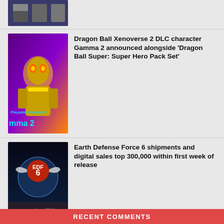[Figure (photo): Partial thumbnail of a gaming image, cropped at top]
[Figure (photo): Dragon Ball Xenoverse 2 DLC character Gamma 2, purple and yellow robot/android character promotional art]
Dragon Ball Xenoverse 2 DLC character Gamma 2 announced alongside ‘Dragon Ball Super: Super Hero Pack Set’
[Figure (photo): Earth Defense Force 6 promotional image with Japanese text reading 30万本突破 (300,000 copies) and EDF logo]
Earth Defense Force 6 shipments and digital sales top 300,000 within first week of release
[Figure (photo): Black Witchcraft game cover art showing anime-style female character with wings and logo text]
Black Witchcraft for PC delayed to September 27
RECENT COMMENTS